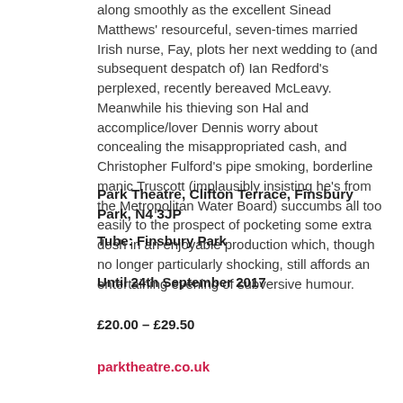along smoothly as the excellent Sinead Matthews' resourceful, seven-times married Irish nurse, Fay, plots her next wedding to (and subsequent despatch of) Ian Redford's perplexed, recently bereaved McLeavy. Meanwhile his thieving son Hal and accomplice/lover Dennis worry about concealing the misappropriated cash, and Christopher Fulford's pipe smoking, borderline manic Truscott (implausibly insisting he's from the Metropolitan Water Board) succumbs all too easily to the prospect of pocketing some extra dosh in an enjoyable production which, though no longer particularly shocking, still affords an entertaining evening of subversive humour.
Park Theatre, Clifton Terrace, Finsbury Park, N4 3JP
Tube: Finsbury Park
Until 24th September 2017
£20.00 – £29.50
parktheatre.co.uk